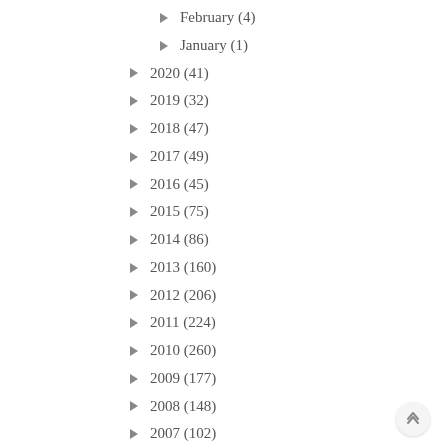February (4)
January (1)
2020 (41)
2019 (32)
2018 (47)
2017 (49)
2016 (45)
2015 (75)
2014 (86)
2013 (160)
2012 (206)
2011 (224)
2010 (260)
2009 (177)
2008 (148)
2007 (102)